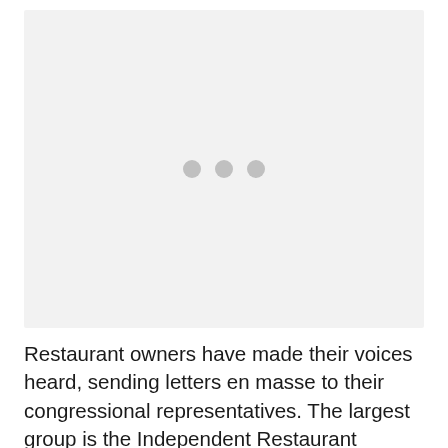[Figure (other): Image placeholder with three grey dots indicating a loading or unavailable image]
Restaurant owners have made their voices heard, sending letters en masse to their congressional representatives. The largest group is the Independent Restaurant Coalition with over 30,000 members. Members are lobbying Congress for a so-called